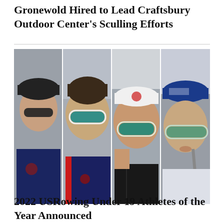Gronewold Hired to Lead Craftsbury Outdoor Center's Sculling Efforts
[Figure (photo): Close-up composite photo of four rowing athletes wearing sunglasses and US rowing team uniforms, competing outdoors.]
2022 USRowing Under 19 Athletes of the Year Announced